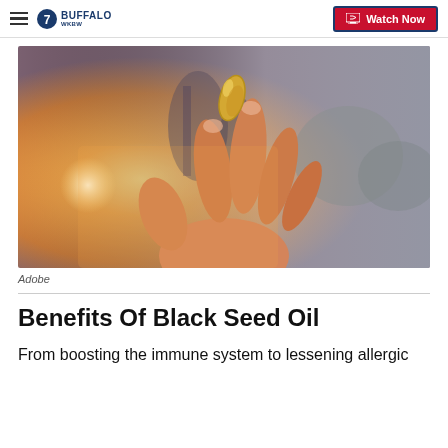7 Buffalo WKBW | Watch Now
[Figure (photo): A hand holding a golden gel capsule/supplement pill up against a bright backlit sunset sky]
Adobe
Benefits Of Black Seed Oil
From boosting the immune system to lessening allergic